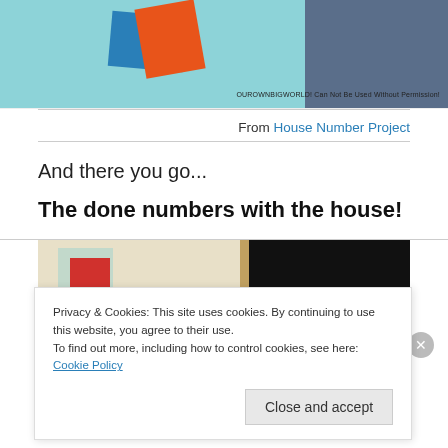[Figure (photo): Top portion of a photo showing teal/blue background with orange and blue cards/notebooks and denim fabric on the right side. Watermark text reads: OUROWNBIGWORLD! Can Not Be Used Without Permission!]
From House Number Project
And there you go...
The done numbers with the house!
[Figure (photo): Photo showing a painted brick wall with a house number sign: red square with white number 6 on a light green mat, and a dark wooden frame on the right side. Bottom shows orange and black color bar.]
Privacy & Cookies: This site uses cookies. By continuing to use this website, you agree to their use.
To find out more, including how to control cookies, see here: Cookie Policy
Close and accept